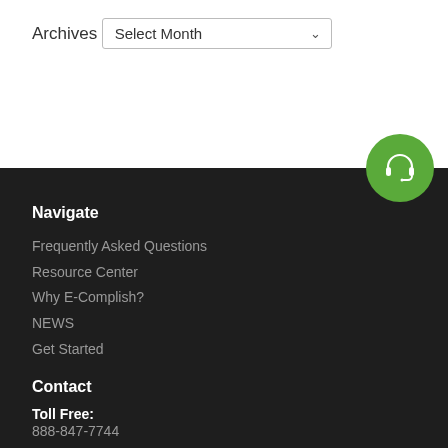Archives
Select Month
[Figure (illustration): Green circle button with headset/phone icon]
Navigate
Frequently Asked Questions
Resource Center
Why E-Complish?
NEWS
Get Started
Contact
Toll Free: 888-847-7744
Sales: 888-850-5318
Newsletter
Join our newsletter to get exclusive offers straight to your email